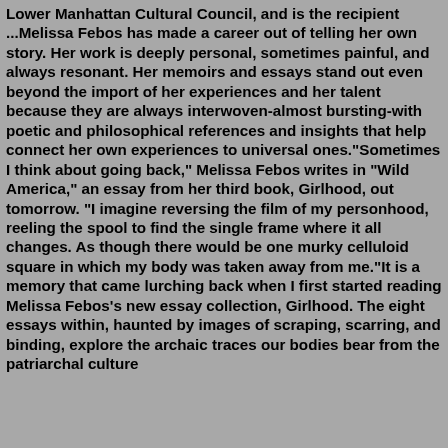Lower Manhattan Cultural Council, and is the recipient ...Melissa Febos has made a career out of telling her own story. Her work is deeply personal, sometimes painful, and always resonant. Her memoirs and essays stand out even beyond the import of her experiences and her talent because they are always interwoven-almost bursting-with poetic and philosophical references and insights that help connect her own experiences to universal ones."Sometimes I think about going back," Melissa Febos writes in "Wild America," an essay from her third book, Girlhood, out tomorrow. "I imagine reversing the film of my personhood, reeling the spool to find the single frame where it all changes. As though there would be one murky celluloid square in which my body was taken away from me."It is a memory that came lurching back when I first started reading Melissa Febos's new essay collection, Girlhood. The eight essays within, haunted by images of scraping, scarring, and binding, explore the archaic traces our bodies bear from the patriarchal culture